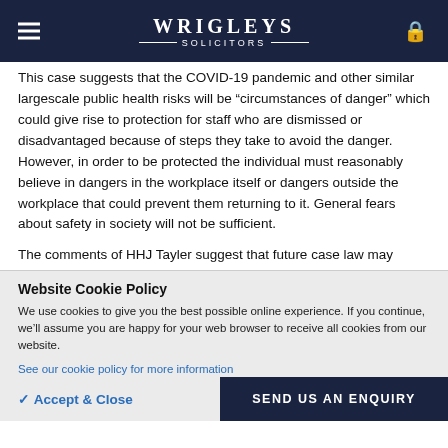WRIGLEYS SOLICITORS
This case suggests that the COVID-19 pandemic and other similar largescale public health risks will be "circumstances of danger" which could give rise to protection for staff who are dismissed or disadvantaged because of steps they take to avoid the danger. However, in order to be protected the individual must reasonably believe in dangers in the workplace itself or dangers outside the workplace that could prevent them returning to it. General fears about safety in society will not be sufficient.

The comments of HHJ Tayler suggest that future case law may
Website Cookie Policy
We use cookies to give you the best possible online experience. If you continue, we’ll assume you are happy for your web browser to receive all cookies from our website.
See our cookie policy for more information
✓ Accept & Close
SEND US AN ENQUIRY